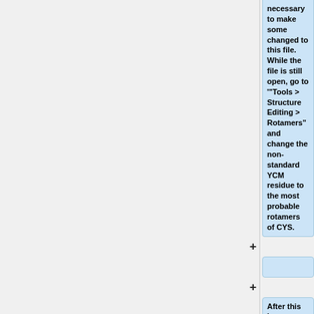necessary to make some changed to this file. While the file is still open, go to ""Tools > Structure Editing > Rotamers"" and change the non-standard YCM residue to the most probable rotamers of CYS.
After this is completed, go to ""Tools > Surface/Binding analysis >